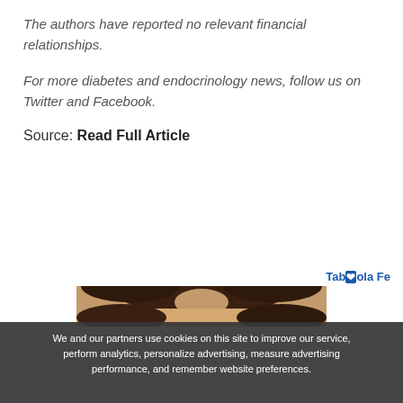The authors have reported no relevant financial relationships.
For more diabetes and endocrinology news, follow us on Twitter and Facebook.
Source: Read Full Article
[Figure (photo): Top of a person's head with dark brown hair, partial face visible]
We and our partners use cookies on this site to improve our service, perform analytics, personalize advertising, measure advertising performance, and remember website preferences.